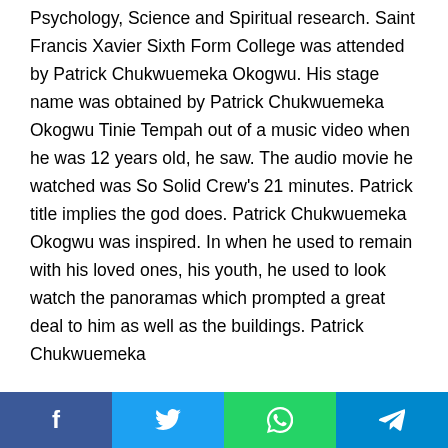Psychology, Science and Spiritual research. Saint Francis Xavier Sixth Form College was attended by Patrick Chukwuemeka Okogwu. His stage name was obtained by Patrick Chukwuemeka Okogwu Tinie Tempah out of a music video when he was 12 years old, he saw. The audio movie he watched was So Solid Crew's 21 minutes. Patrick title implies the god does. Patrick Chukwuemeka Okogwu was inspired. In when he used to remain with his loved ones, his youth, he used to look watch the panoramas which prompted a great deal to him as well as the buildings. Patrick Chukwuemeka
Social share buttons: Facebook, Twitter, WhatsApp, Telegram